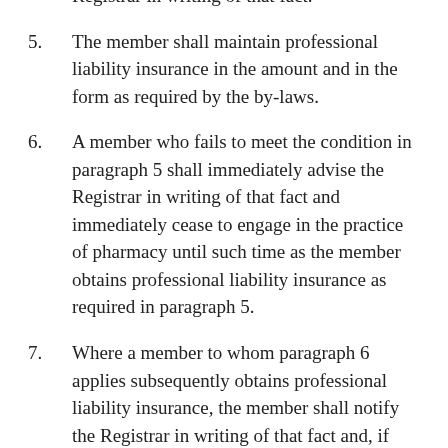(partial) Registrar in writing of that fact.
5. The member shall maintain professional liability insurance in the amount and in the form as required by the by-laws.
6. A member who fails to meet the condition in paragraph 5 shall immediately advise the Registrar in writing of that fact and immediately cease to engage in the practice of pharmacy until such time as the member obtains professional liability insurance as required in paragraph 5.
7. Where a member to whom paragraph 6 applies subsequently obtains professional liability insurance, the member shall notify the Registrar in writing of that fact and, if